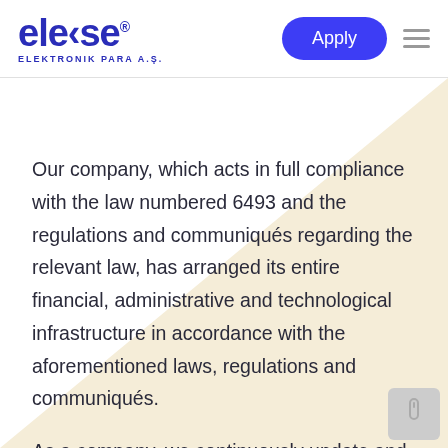[Figure (logo): elekse ELEKTRONIK PARA A.Ş. logo in dark blue with registered trademark symbol]
Our company, which acts in full compliance with the law numbered 6493 and the regulations and communiqués regarding the relevant law, has arranged its entire financial, administrative and technological infrastructure in accordance with the aforementioned laws, regulations and communiqués.
As a company, we continuously update and improve our system and operation in line with the requests